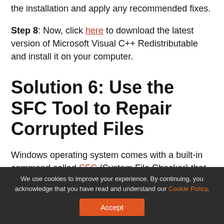the installation and apply any recommended fixes.
Step 8: Now, click here to download the latest version of Microsoft Visual C++ Redistributable and install it on your computer.
Solution 6: Use the SFC Tool to Repair Corrupted Files
Windows operating system comes with a built-in command called SFC (System File Checker) that can be used to repair corrupted system files. What it does is scan your entire system for corrupt, old
We use cookies to improve your experience. By continuing, you acknowledge that you have read and understand our Cookie Policy. Accept